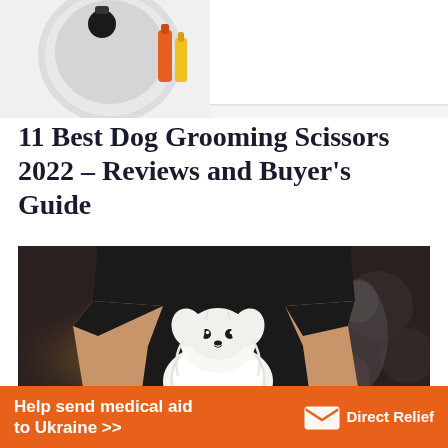[Figure (photo): Top portion of a dog grooming product image showing grooming tools (scissors, comb) on left and a fluffy dog on white background on right — partially cropped at top]
11 Best Dog Grooming Scissors 2022 – Reviews and Buyer's Guide
[Figure (photo): A dog groomer in a black t-shirt holding and grooming a small white Pomeranian dog in a pet salon setting with warm bokeh background]
Help send medical aid to Ukraine >>  Direct Relief